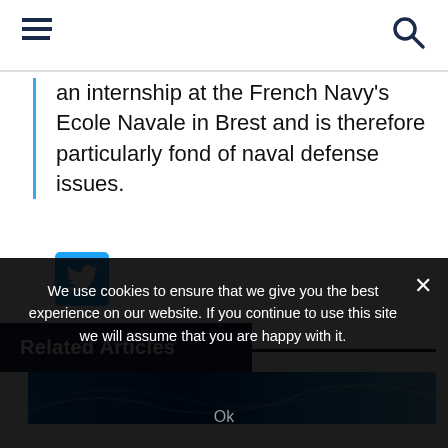[Navigation bar with hamburger menu and search icon]
an internship at the French Navy's Ecole Navale in Brest and is therefore particularly fond of naval defense issues.
[Figure (logo): Twitter bird icon button in cyan/blue square]
Related Articles
[Figure (photo): Blue abstract background image for related article]
We use cookies to ensure that we give you the best experience on our website. If you continue to use this site we will assume that you are happy with it.
Ok